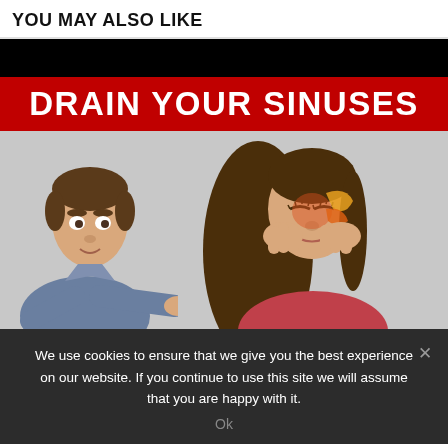YOU MAY ALSO LIKE
[Figure (photo): Health/medical content thumbnail showing text 'DRAIN YOUR SINUSES' on a red banner with a black top bar, a man in a blue shirt pointing, and a woman pressing on her sinuses with highlighted sinus diagram overlay.]
We use cookies to ensure that we give you the best experience on our website. If you continue to use this site we will assume that you are happy with it.
Ok